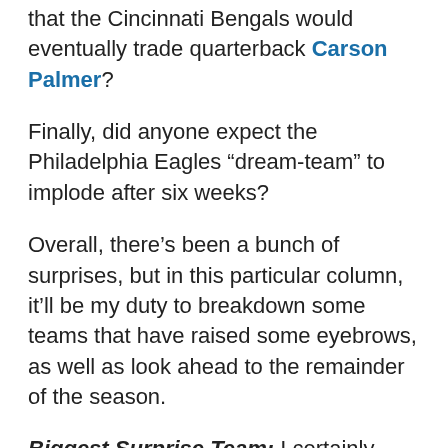that the Cincinnati Bengals would eventually trade quarterback Carson Palmer?
Finally, did anyone expect the Philadelphia Eagles “dream-team” to implode after six weeks?
Overall, there’s been a bunch of surprises, but in this particular column, it’ll be my duty to breakdown some teams that have raised some eyebrows, as well as look ahead to the remainder of the season.
Biggest Surprise Team: I certainly have enjoyed watching Detroit and San Francisco, but the team I am going to select for this particular category is the Buffalo Bills.